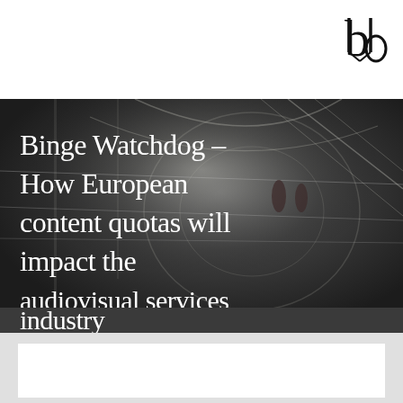[Figure (logo): UO logo - stylized letters U and O interlocked in serif font]
[Figure (photo): Dark moody interior architectural photo of a modern building with curved railings and staircases, two people walking]
Binge Watchdog – How European content quotas will impact the audiovisual services industry